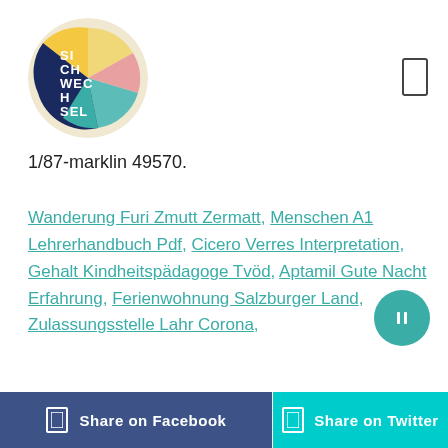[Figure (logo): Circular logo with colorful segments (yellow, teal, pink, dark blue) and white text reading SI CHT WECh EL (Sichtwechsel)]
1/87-marklin 49570.
Wanderung Furi Zmutt Zermatt, Menschen A1 Lehrerhandbuch Pdf, Cicero Verres Interpretation, Gehalt Kindheitspädagoge Tvöd, Aptamil Gute Nacht Erfahrung, Ferienwohnung Salzburger Land, Zulassungsstelle Lahr Corona,
[Figure (other): Teal circular floating action button with a pause/info icon]
Share on Facebook
Share on Twitter